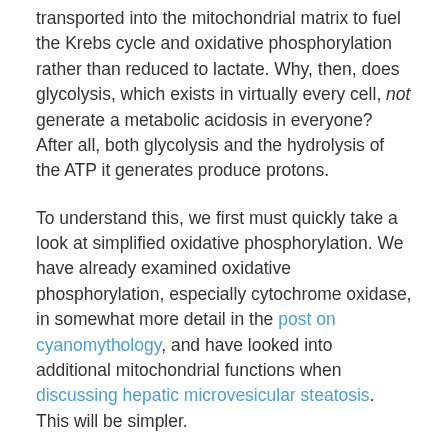transported into the mitochondrial matrix to fuel the Krebs cycle and oxidative phosphorylation rather than reduced to lactate. Why, then, does glycolysis, which exists in virtually every cell, not generate a metabolic acidosis in everyone? After all, both glycolysis and the hydrolysis of the ATP it generates produce protons.
To understand this, we first must quickly take a look at simplified oxidative phosphorylation. We have already examined oxidative phosphorylation, especially cytochrome oxidase, in somewhat more detail in the post on cyanomythology, and have looked into additional mitochondrial functions when discussing hepatic microvesicular steatosis. This will be simpler.